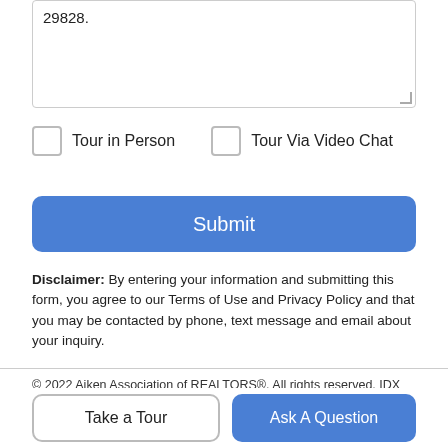29828.
Tour in Person
Tour Via Video Chat
Submit
Disclaimer: By entering your information and submitting this form, you agree to our Terms of Use and Privacy Policy and that you may be contacted by phone, text message and email about your inquiry.
© 2022 Aiken Association of REALTORS®. All rights reserved. IDX information is provided exclusively for consumers' personal, non-commercial use and may not be used for any purpose other than
Take a Tour
Ask A Question